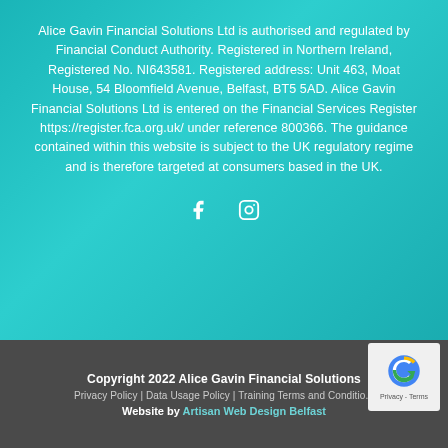Alice Gavin Financial Solutions Ltd is authorised and regulated by Financial Conduct Authority. Registered in Northern Ireland, Registered No. NI643581. Registered address: Unit 463, Moat House, 54 Bloomfield Avenue, Belfast, BT5 5AD. Alice Gavin Financial Solutions Ltd is entered on the Financial Services Register https://register.fca.org.uk/ under reference 800366. The guidance contained within this website is subject to the UK regulatory regime and is therefore targeted at consumers based in the UK.
[Figure (other): Social media icons: Facebook (f) and Instagram (circle with camera)]
Copyright 2022 Alice Gavin Financial Solutions | Privacy Policy | Data Usage Policy | Training Terms and Conditions | Website by Artisan Web Design Belfast